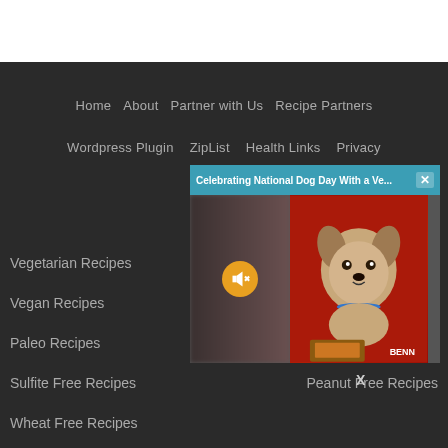Home   About   Partner with Us   Recipe Partners
Wordpress Plugin   ZipList   Health Links   Privacy
Contact
[Figure (screenshot): Popup overlay showing 'Celebrating National Dog Day With a Ve...' title bar with close X button, and a video thumbnail showing a small Yorkshire Terrier dog in front of red background with text BENN visible, and a mute button (yellow circle with speaker icon) on the left side]
Vegetarian Recipes
Vegan Recipes
Paleo Recipes
Egg Free Recipes
Sulfite Free Recipes
Peanut Free Recipes
Wheat Free Recipes